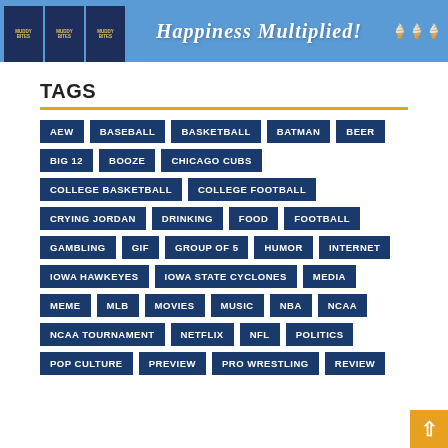[Figure (illustration): Banner advertisement for Muddy Bites with text 'Happiness Multiplied!' on blue background with ice cream cone graphics]
TAGS
AEW
BASEBALL
BASKETBALL
BATMAN
BEER
BIG 12
BOOZE
CHICAGO CUBS
COLLEGE BASKETBALL
COLLEGE FOOTBALL
CRYING JORDAN
DRINKING
FOOD
FOOTBALL
GAMBLING
GIF
GROUP OF 5
HUMOR
INTERNET
IOWA HAWKEYES
IOWA STATE CYCLONES
MEDIA
MEME
MLB
MOVIES
MUSIC
NBA
NCAA
NCAA TOURNAMENT
NETFLIX
NFL
POLITICS
POP CULTURE
PREVIEW
PRO WRESTLING
REVIEW